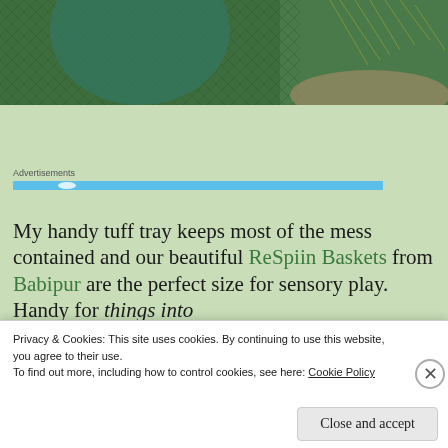[Figure (photo): Close-up photo of green woven/knitted basket texture with plant material visible]
Advertisements
My handy tuff tray keeps most of the mess contained and our beautiful ReSpiin Baskets from Babipur are the perfect size for sensory play. Handy for things into
Privacy & Cookies: This site uses cookies. By continuing to use this website, you agree to their use.
To find out more, including how to control cookies, see here: Cookie Policy
Close and accept